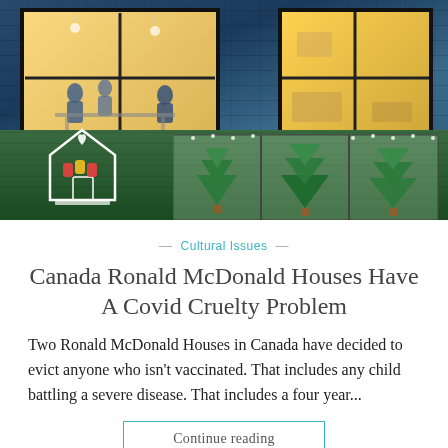[Figure (photo): Exterior of a Ronald McDonald House building at night, showing blue brick walls with illuminated windows (warm yellow glow), green tiled lower section with a house logo/icon on the left, and Christmas tree decorations visible in an entrance area on the right.]
— Cultural Issues —
Canada Ronald McDonald Houses Have A Covid Cruelty Problem
Two Ronald McDonald Houses in Canada have decided to evict anyone who isn't vaccinated. That includes any child battling a severe disease. That includes a four year...
Continue reading